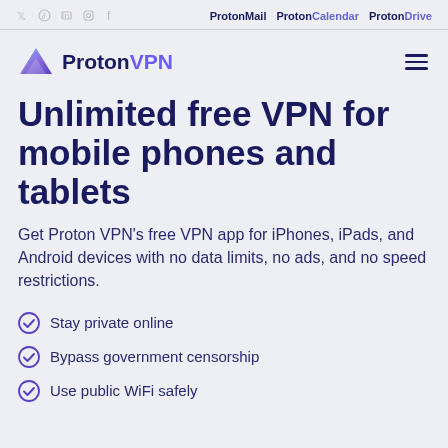Twitter Reddit LinkedIn Instagram Facebook | Proton Mail  Proton Calendar  Proton Drive
[Figure (logo): Proton VPN logo with purple triangle icon and hamburger menu icon]
Unlimited free VPN for mobile phones and tablets
Get Proton VPN’s free VPN app for iPhones, iPads, and Android devices with no data limits, no ads, and no speed restrictions.
Stay private online
Bypass government censorship
Use public WiFi safely